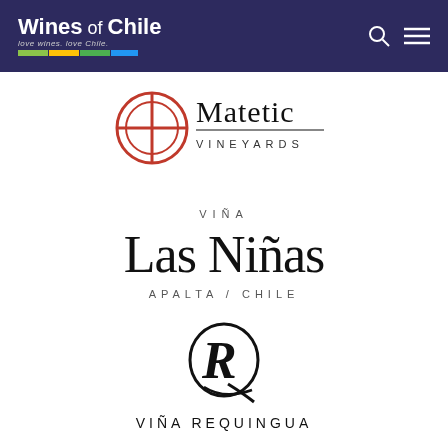Wines of Chile
[Figure (logo): Matetic Vineyards logo with red quartered circle emblem and serif/sans text]
[Figure (logo): Viña Las Niñas Apalta / Chile logo in large serif black text]
[Figure (logo): Viña Requingua logo with ornate R monogram and spaced capital letters]